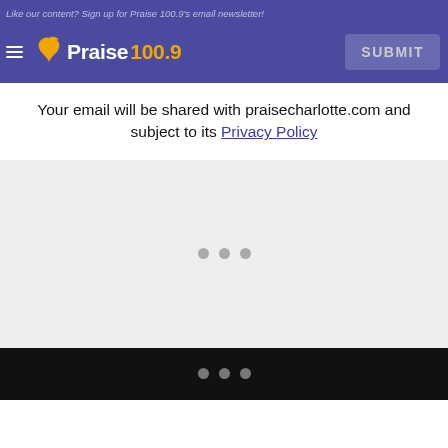Like our content? Sign up for Praise 100.9's email newsletter!
[Figure (logo): Praise 100.9 radio station logo with hamburger menu icon on purple/indigo navigation bar, and a SUBMIT button on the right]
Your email will be shared with praisecharlotte.com and subject to its Privacy Policy
[Figure (other): Light gray loading area with three gray dots centered, indicating content loading]
[Figure (other): Black footer bar with three gray dots centered]